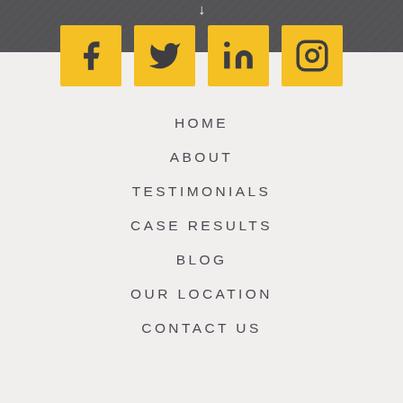[Figure (infographic): Social media icons row: Facebook, Twitter, LinkedIn, Instagram — each as a yellow square with a dark icon]
HOME
ABOUT
TESTIMONIALS
CASE RESULTS
BLOG
OUR LOCATION
CONTACT US